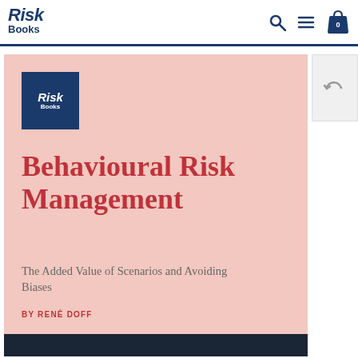Risk Books — navigation bar with logo, search, menu, and cart icons
[Figure (illustration): Book cover for 'Behavioural Risk Management: The Added Value of Scenarios and Avoiding Biases' by René Doff, published by Risk Books. Pink/salmon background with Risk Books logo (navy blue square) in top-left. Large red/crimson title text followed by grey subtitle and red author name.]
Behavioural Risk Management
The Added Value of Scenarios and Avoiding Biases
BY RENÉ DOFF